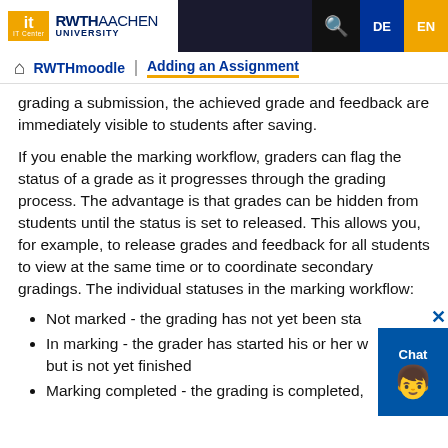RWTH Aachen University IT Center — RWTHmoodle | Adding an Assignment
grading a submission, the achieved grade and feedback are immediately visible to students after saving.
If you enable the marking workflow, graders can flag the status of a grade as it progresses through the grading process. The advantage is that grades can be hidden from students until the status is set to released. This allows you, for example, to release grades and feedback for all students to view at the same time or to coordinate secondary gradings. The individual statuses in the marking workflow:
Not marked - the grading has not yet been started
In marking - the grader has started his or her work but is not yet finished
Marking completed - the grading is completed,